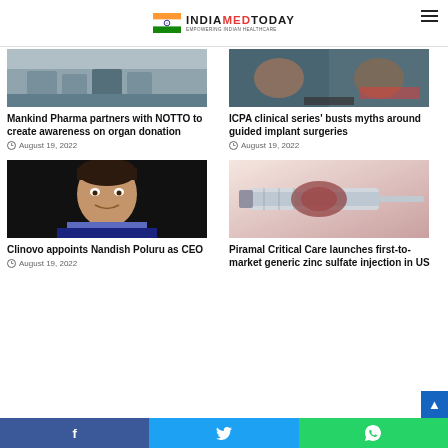INDIA MED TODAY - Empowering Indian Healthcare
[Figure (photo): People seated at a conference table, likely a panel discussion or meeting]
[Figure (photo): Two people on a video call panel, Dr. names visible]
Mankind Pharma partners with NOTTO to create awareness on organ donation
August 19, 2022
ICPA clinical series' busts myths around guided implant surgeries
August 19, 2022
[Figure (photo): Headshot of Nandish Poluru, man in suit with dark background]
[Figure (photo): Close-up of a medical syringe and vial]
Clinovo appoints Nandish Poluru as CEO
August 19, 2022
Piramal Critical Care launches first-to-market generic zinc sulfate injection in US
f  Twitter  WhatsApp social share bar